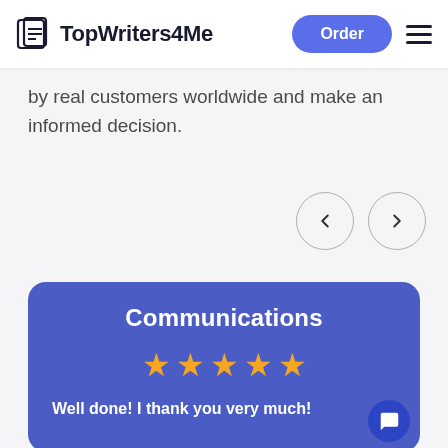TopWriters4Me | Order
by real customers worldwide and make an informed decision.
[Figure (other): Navigation arrows: left arrow circle and right arrow circle for carousel]
[Figure (other): Review card with purple background showing Communications category with 5 stars and text: Well done! I thank you very much!]